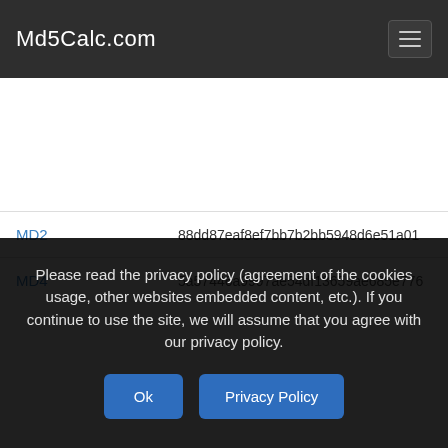Md5Calc.com
| Algorithm | Hash |
| --- | --- |
| MD2 | 88dd87eaf8ef7bb7b2bb5948d6e51a01 |
| MD4 | 5a57446a9997ae54df13659ae685e776 |
Please read the privacy policy (agreement of the cookies usage, other websites embedded content, etc.). If you continue to use the site, we will assume that you agree with our privacy policy.
Ok   Privacy Policy